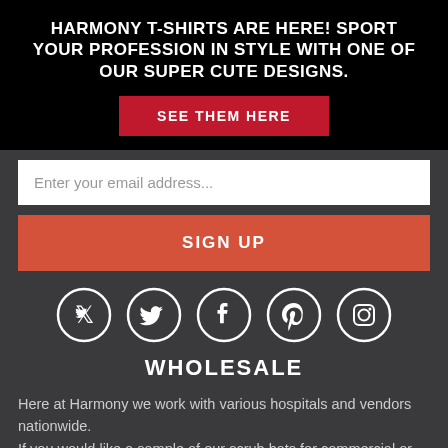HARMONY T-SHIRTS ARE HERE! SPORT YOUR PROFESSION IN STYLE WITH ONE OF OUR SUPER CUTE DESIGNS.
SEE THEM HERE
Enter your email address...
SIGN UP
[Figure (other): Social media icons: Twitter, Facebook, Pinterest, Instagram — white icons in circular outlines on dark background]
WHOLESALE
Here at Harmony we work with various hospitals and vendors nationwide. If you would like a sample of our scrub hats for commercial or bulk use, please fill out the contact form and a sales representative will contact you within two business days.